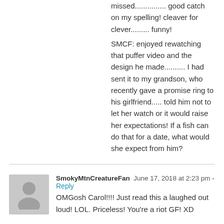missed.............. good catch on my spelling! cleaver for clever......... funny!
SMCF: enjoyed rewatching that puffer video and the design he made.......... I had sent it to my grandson, who recently gave a promise ring to his girlfriend..... told him not to let her watch or it would raise her expectations! If a fish can do that for a date, what would she expect from him?
[Figure (photo): Gray silhouette avatar placeholder for user]
SmokyMtnCreatureFan June 17, 2018 at 2:23 pm - Reply
OMGosh Carol!!!! Just read this a laughed out loud! LOL. Priceless! You're a riot GF! XD
[Figure (photo): Photo of a dog (appears to be a pug or similar breed) in a snowy or light background]
CarolV June 17, 2018 at 3:39 pm - Reply
I have my moments................. Hope you're having a good day.......hit 83 in